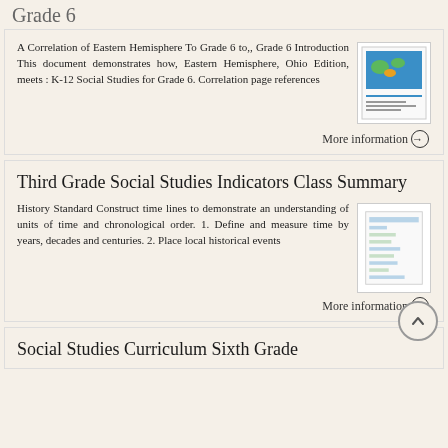Grade 6
A Correlation of Eastern Hemisphere To Grade 6 to,, Grade 6 Introduction This document demonstrates how, Eastern Hemisphere, Ohio Edition, meets : K-12 Social Studies for Grade 6. Correlation page references
More information →
Third Grade Social Studies Indicators Class Summary
History Standard Construct time lines to demonstrate an understanding of units of time and chronological order. 1. Define and measure time by years, decades and centuries. 2. Place local historical events
More information →
Social Studies Curriculum Sixth Grade